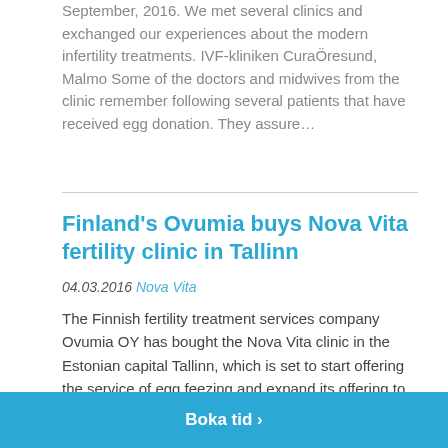September, 2016. We met several clinics and exchanged our experiences about the modern infertility treatments. IVF-kliniken CuraÖresund, Malmo Some of the doctors and midwives from the clinic remember following several patients that have received egg donation. They assure…
Finland's Ovumia buys Nova Vita fertility clinic in Tallinn
04.03.2016 Nova Vita
The Finnish fertility treatment services company Ovumia OY has bought the Nova Vita clinic in the Estonian capital Tallinn, which is set to start offering the service of egg feezing and expand its offering to
Boka tid ›